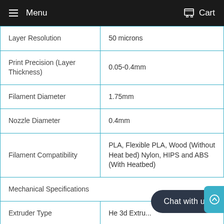Menu   Cart
| Layer Resolution | 50 microns |
| Print Precision (Layer Thickness) | 0.05-0.4mm |
| Filament Diameter | 1.75mm |
| Nozzle Diameter | 0.4mm |
| Filament Compatibility | PLA, Flexible PLA, Wood (Without Heat bed) Nylon, HIPS and ABS (With Heatbed) |
| Mechanical Specifications |  |
| Extruder Type | He 3d Extru... |
| No. of Extruders | 1 |